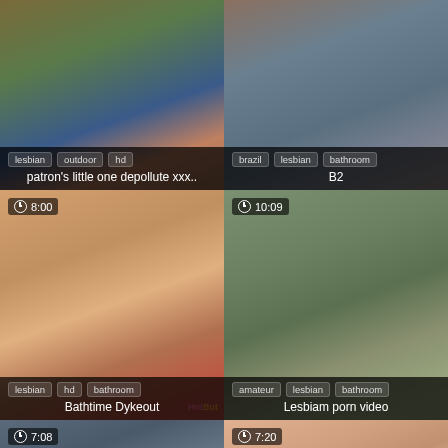[Figure (photo): Outdoor pool scene, two people]
lesbian  outdoor  hd
patron's little one depollute xxx..
[Figure (photo): Bathroom scene]
brazil  lesbian  bathroom
B2
[Figure (photo): Lesbian kiss close-up, 8:00 duration]
lesbian  hd  bathroom
Bathtime Dykeout
[Figure (photo): Outdoor water/grass scene, 10:09 duration]
amateur  lesbian  bathroom
Lesbiam porn video
[Figure (photo): Shower scene, 7:08 duration]
[Figure (photo): Two smiling women, 7:20 duration]